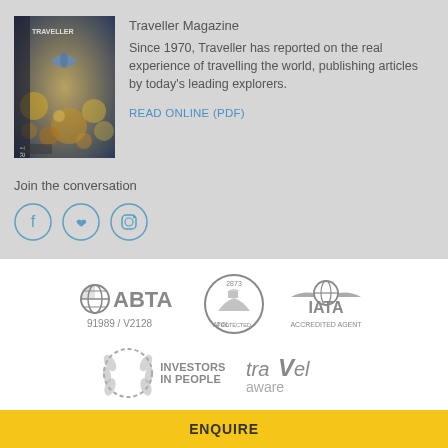Traveller Magazine
Since 1970, Traveller has reported on the real experience of travelling the world, publishing articles by today's leading explorers.
READ ONLINE (PDF)
Join the conversation
[Figure (logo): Traveller Magazine cover thumbnail]
[Figure (logo): Social media icons: Facebook, Pinterest, Instagram]
[Figure (logo): ABTA logo with number 91989 / V2128]
[Figure (logo): ATOL Protected circular logo with number 2873]
[Figure (logo): IATA Accredited Agent logo]
[Figure (logo): Investors in People logo with laurel wreath]
[Figure (logo): Travel Aware logo]
ENQUIRE